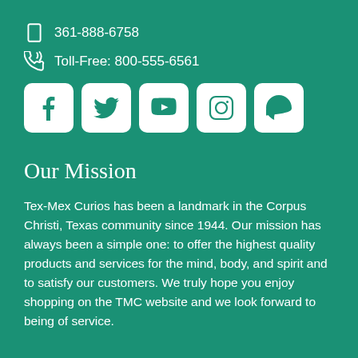361-888-6758
Toll-Free: 800-555-6561
[Figure (other): Row of 5 social media icon buttons (Facebook, Twitter, YouTube, Instagram, Pinterest) on white rounded square backgrounds]
Our Mission
Tex-Mex Curios has been a landmark in the Corpus Christi, Texas community since 1944. Our mission has always been a simple one: to offer the highest quality products and services for the mind, body, and spirit and to satisfy our customers. We truly hope you enjoy shopping on the TMC website and we look forward to being of service.
Quick Links